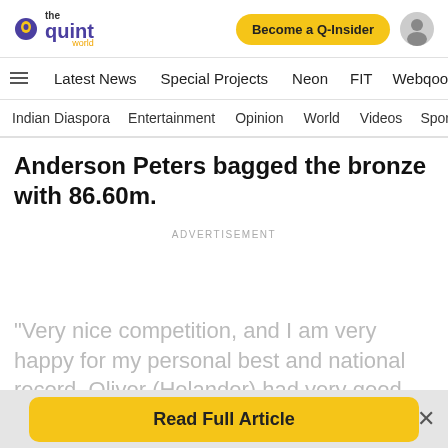[Figure (logo): The Quint World logo with purple text and yellow accent]
Become a Q-Insider
Latest News   Special Projects   Neon   FIT   Webqoof
Indian Diaspora   Entertainment   Opinion   World   Videos   Spor
Anderson Peters bagged the bronze with 86.60m.
ADVERTISEMENT
"Very nice competition, and I am very happy for my personal best and national record. Oliver (Helander) had very good technique today. I tried maybe too
Read Full Article